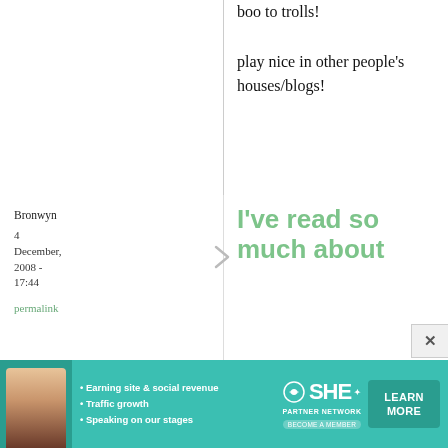boo to trolls! play nice in other people's houses/blogs!
Bronwyn
4 December, 2008 - 17:44
permalink
I've read so much about
I've read so much about Julia Child, but somehow have never actually read anything
[Figure (infographic): SHE Partner Network advertisement banner with a woman photo, bullet points about earning site & social revenue, traffic growth, speaking on our stages, SHE logo, and LEARN MORE button]